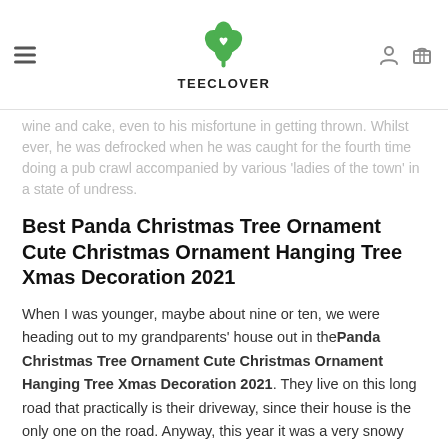TEECLOVER
wine and cake, even to his misfortune in getting thrown. Whilst ever, he was defrocked when he was caught for the fourth time doing a pub crawl accompanied by various 'ladies of the town' in a state of undress.
Best Panda Christmas Tree Ornament Cute Christmas Ornament Hanging Tree Xmas Decoration 2021
When I was younger, maybe about nine or ten, we were heading out to my grandparents' house out in the Panda Christmas Tree Ornament Cute Christmas Ornament Hanging Tree Xmas Decoration 2021. They live on this long road that practically is their driveway, since their house is the only one on the road. Anyway, this year it was a very snowy and windy Christmas Eve. There were many snow drifts on the roads and snow blew all over the vehicle as we drove up to their house. About halfway across their personal street, my dad thought it would be funny to drive faster, even in the